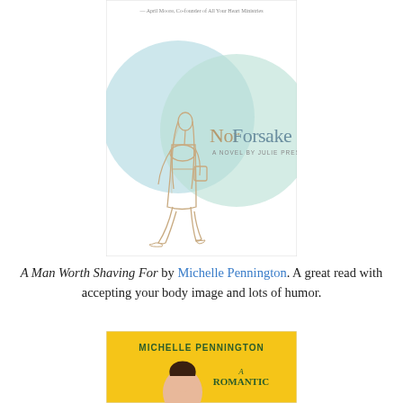[Figure (illustration): Book cover of 'Nor Forsake' a novel by Julie Presley. Light blue/mint overlapping circles background with a line drawing of a woman walking, shown from behind with long hair and a bag.]
A Man Worth Shaving For by Michelle Pennington. A great read with accepting your body image and lots of humor.
[Figure (illustration): Book cover of a book by Michelle Pennington with yellow background and the text 'MICHELLE PENNINGTON' and 'A ROMANTIC' visible, with a partial image of a woman.]